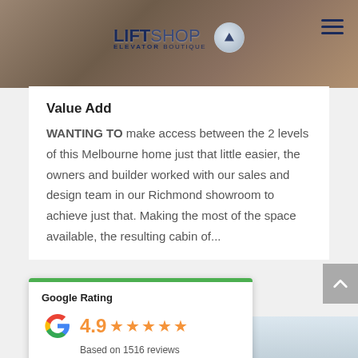[Figure (photo): Header image showing interior scene with LiftShop Elevator Boutique logo overlay and hamburger menu icon in top right]
Value Add
WANTING TO make access between the 2 levels of this Melbourne home just that little easier, the owners and builder worked with our sales and design team in our Richmond showroom to achieve just that. Making the most of the space available, the resulting cabin of...
[Figure (infographic): Google Rating card showing 4.9 stars based on 1516 reviews with Google G logo and green top border]
[Figure (photo): Bottom strip showing interior elevator or hallway image]